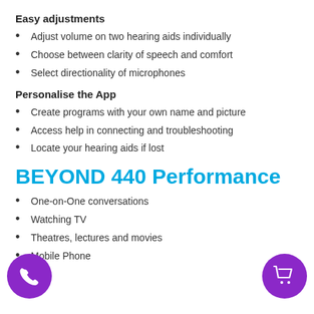Easy adjustments
Adjust volume on two hearing aids individually
Choose between clarity of speech and comfort
Select directionality of microphones
Personalise the App
Create programs with your own name and picture
Access help in connecting and troubleshooting
Locate your hearing aids if lost
BEYOND 440 Performance
One-on-One conversations
Watching TV
Theatres, lectures and movies
Mobile Phone